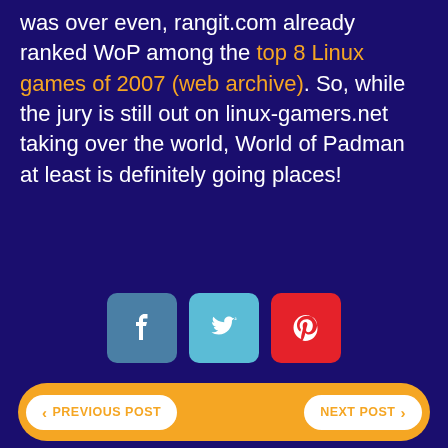was over even, rangit.com already ranked WoP among the top 8 Linux games of 2007 (web archive). So, while the jury is still out on linux-gamers.net taking over the world, World of Padman at least is definitely going places!
[Figure (other): Three social share buttons: Facebook (blue), Twitter (teal), Pinterest (red)]
[Figure (other): Navigation bar with orange background, 'Previous Post' button on left and 'Next Post' button on right]
WOP POLL
What game types would you like to see in future WoP releases?
Catch The Killerduck